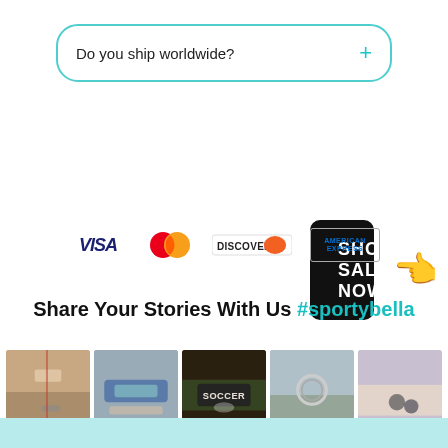Do you ship worldwide? +
[Figure (other): Black button with text SHOP SALE NOW and pointing hand emoji]
[Figure (other): Payment icons: VISA, MasterCard, Discover, American Express]
Share Your Stories With Us #sportybella
[Figure (photo): Five photos of bracelets/jewelry on wrists]